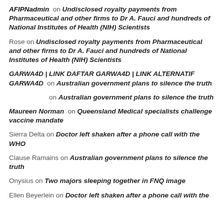AFIPNadmin on Undisclosed royalty payments from Pharmaceutical and other firms to Dr A. Fauci and hundreds of National Institutes of Health (NIH) Scientists
Rose on Undisclosed royalty payments from Pharmaceutical and other firms to Dr A. Fauci and hundreds of National Institutes of Health (NIH) Scientists
GARWA4D | LINK DAFTAR GARWA4D | LINK ALTERNATIF GARWA4D on Australian government plans to silence the truth
on Australian government plans to silence the truth
Maureen Norman on Queensland Medical specialists challenge vaccine mandate
Sierra Delta on Doctor left shaken after a phone call with the WHO
Clause Ramains on Australian government plans to silence the truth
Onysius on Two majors sleeping together in FNQ image
Ellen Beyerlein on Doctor left shaken after a phone call with the